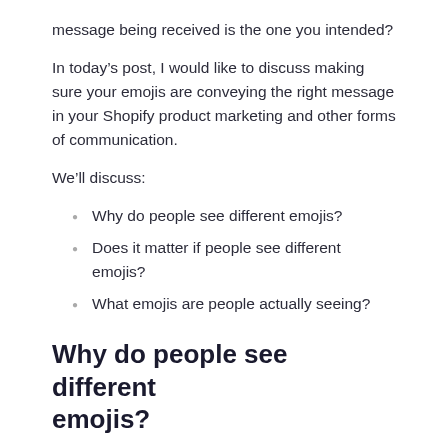message being received is the one you intended?
In today’s post, I would like to discuss making sure your emojis are conveying the right message in your Shopify product marketing and other forms of communication.
We’ll discuss:
Why do people see different emojis?
Does it matter if people see different emojis?
What emojis are people actually seeing?
Why do people see different emojis?